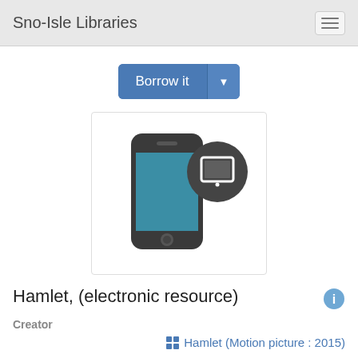Sno-Isle Libraries
[Figure (screenshot): Borrow it button with dropdown arrow]
[Figure (illustration): Smartphone icon with a tablet/ebook reader badge overlay icon on dark circle]
Hamlet, (electronic resource)
Creator
Hamlet (Motion picture : 2015)